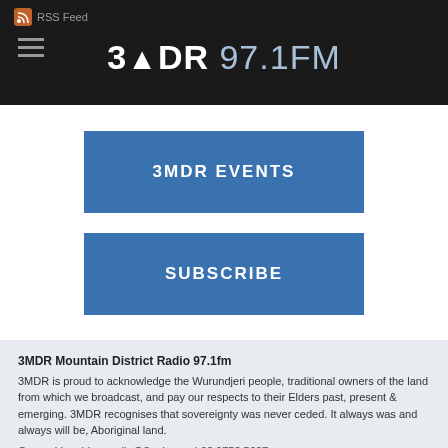RSS Feed
3MDR 97.1FM
3MDR EVENTS
SUBSCRIBE
3MDR Mountain District Radio 97.1fm
3MDR is proud to acknowledge the Wurundjeri people, traditional owners of the land from which we broadcast, and pay our respects to their Elders past, present & emerging.  3MDR recognises that sovereignty was never ceded.  It always was and always will be, Aboriginal land.

General Inquiries: radio@3mdr.com | 03 9752  5637
On-Air: 03 9752 5678 | SMS 04971 0 2000